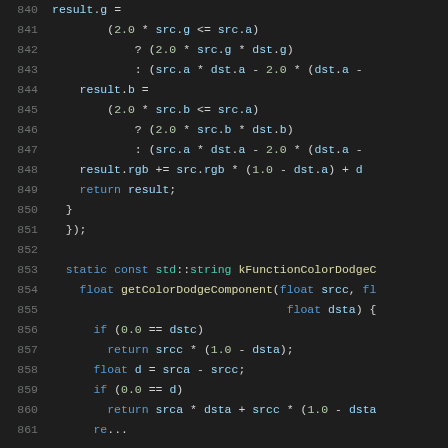Code snippet lines 840-860 showing shader/graphics blend mode implementation in C++/GLSL style code including result.g, result.b, result.rgb assignments and getColorDodgeComponent function definition